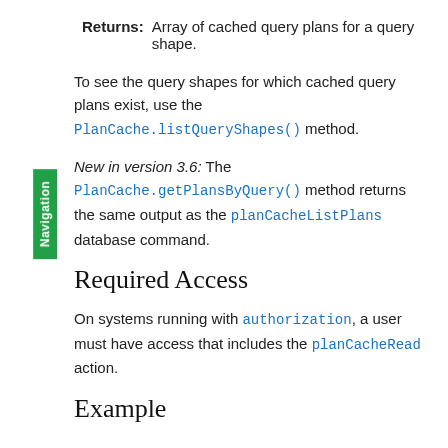Returns: Array of cached query plans for a query shape.
To see the query shapes for which cached query plans exist, use the PlanCache.listQueryShapes() method.
New in version 3.6: The PlanCache.getPlansByQuery() method returns the same output as the planCacheListPlans database command.
Required Access
On systems running with authorization, a user must have access that includes the planCacheRead action.
Example